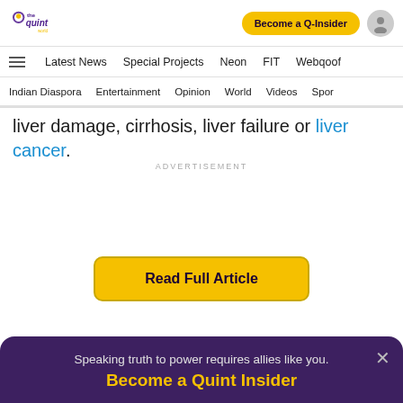The Quint World — navigation: Latest News, Special Projects, Neon, FIT, Webqoof | Indian Diaspora, Entertainment, Opinion, World, Videos, Spor
liver damage, cirrhosis, liver failure or liver cancer.
ADVERTISEMENT
Read Full Article
Speaking truth to power requires allies like you.
Become a Quint Insider